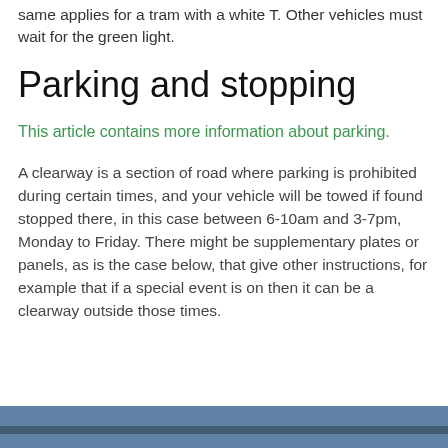same applies for a tram with a white T. Other vehicles must wait for the green light.
Parking and stopping
This article contains more information about parking.
A clearway is a section of road where parking is prohibited during certain times, and your vehicle will be towed if found stopped there, in this case between 6-10am and 3-7pm, Monday to Friday. There might be supplementary plates or panels, as is the case below, that give other instructions, for example that if a special event is on then it can be a clearway outside those times.
[Figure (photo): A photo strip at the bottom of the page showing a road or street scene.]